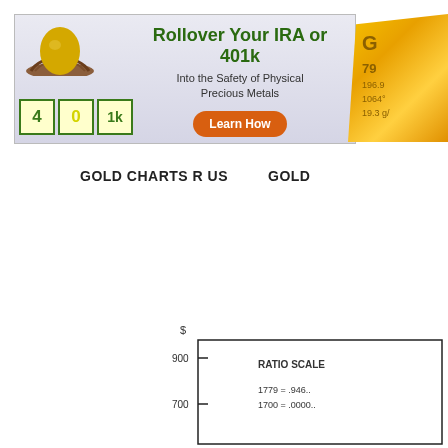[Figure (infographic): Advertisement banner: 'Rollover Your IRA or 401k Into the Safety of Physical Precious Metals' with gold egg, toy blocks spelling 401k, and orange Learn How button]
[Figure (photo): Partial gold bar image with text showing price and properties: 79, 196.9, 1064°, 19.3 g/]
GOLD CHARTS R US    GOLD
[Figure (line-chart): Partial ratio scale chart showing $ axis with 900 and 700 labels, text RATIO SCALE, and values 1779 = .946, 1700 = .0000]